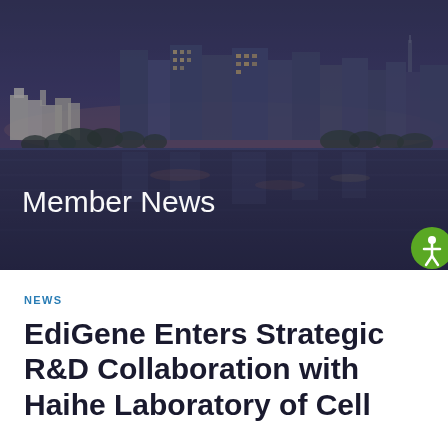[Figure (photo): City skyline at dusk/night reflected in water, with a dark blue-purple overlay. Text 'Member News' appears in white in the lower-left area of the image. A green accessibility icon appears in the bottom-right corner.]
NEWS
EdiGene Enters Strategic R&D Collaboration with Haihe Laboratory of Cell